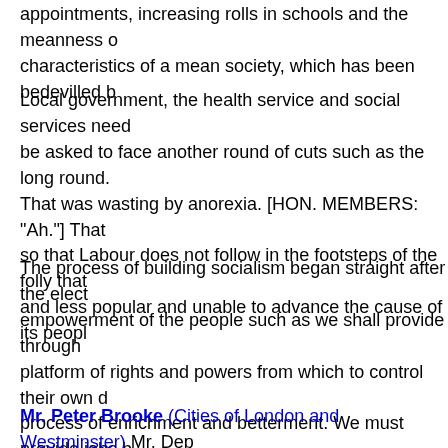appointments, increasing rolls in schools and the meanness of characteristics of a mean society, which has been bedevilled b
Local government, the health service and social services need be asked to face another round of cuts such as the long round. That was wasting by anorexia. [HON. MEMBERS: "Ah."] That so that Labour does not follow in the footsteps of the folly that and less popular and unable to advance the cause of its peopl
The process of building socialism began straight after the elect empowerment of the people such as we shall provide through platform of rights and powers from which to control their own d process of enrichment and betterment. We must provide jobs b people's ability to control their economic destiny as well as the hand in hand. I am delighted that we are embarking so vigourou process, but we must embark on the enrichment process as w waited 18 years in opposition to begin rolling, as we are now r where it belongs and advance the cause of the people, to fail o other.
Mr. Peter Brooke (Cities of London and Westminster) Mr. Dep congratulating you on having taken your office. It is a great plo